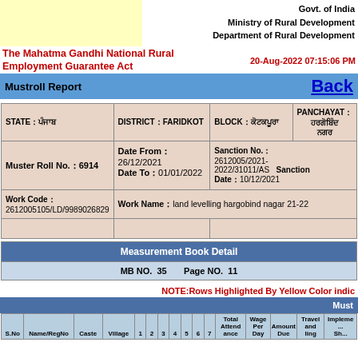Govt. of India
Ministry of Rural Development
Department of Rural Development
The Mahatma Gandhi National Rural Employment Guarantee Act
20-Aug-2022 07:15:06 PM
Mustroll Report   Back
| STATE | DISTRICT | BLOCK | PANCHAYAT |
| --- | --- | --- | --- |
| STATE : ਪੰਜਾਬ | DISTRICT : FARIDKOT | BLOCK : ਕੋਟਕਪੂਰਾ | PANCHAYAT : ਹਰਗੋਬਿੰਦ ਨਗਰ |
| Muster Roll No. : 6914 | Date From : 26/12/2021
Date To : 01/01/2022 | Sanction No. : 2612005/2021-2022/31011/AS  Sanction Date : 10/12/2021 |  |
| Work Code : 2612005105/LD/9989026829 | Work Name : land levelling hargobind nagar 21-22 |  |  |
|  |  |  |  |
| Measurement Book Detail |
| --- |
| MB NO.  35    Page NO.   11 |
NOTE:Rows Highlighted By Yellow Color indic
Mustr
| S.No | Name/RegNo | Caste | Village | 1 | 2 | 3 | 4 | 5 | 6 | 7 | Total Attendance | Wage Per Day | Amount Due | Travel and ... | Impleme... Sh... |
| --- | --- | --- | --- | --- | --- | --- | --- | --- | --- | --- | --- | --- | --- | --- | --- |